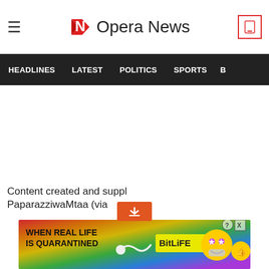Opera News
HEADLINES   LATEST   POLITICS   SPORTS   B
Content created and supplied by PaparazziwaMtaa (via
[Figure (screenshot): Advertisement banner: rainbow gradient background with text 'WHEN REAL LIFE IS QUARANTINED' and BitLife logo with emoji characters]